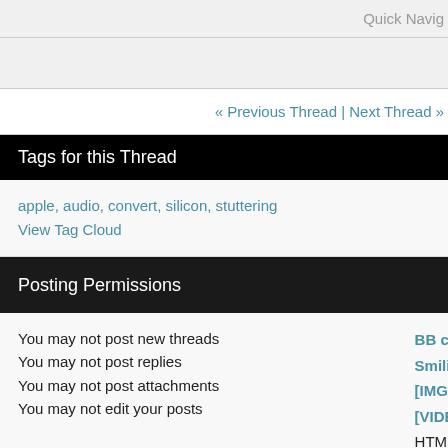Quick Navig
« Previous Thread | Next Thread »
Tags for this Thread
apple, audio, convert, silicon, stuttering
View Tag Cloud
Posting Permissions
You may not post new threads
You may not post replies
You may not post attachments
You may not edit your posts
BB code is On
Smilies are On
[IMG] code is On
[VIDEO] code is On
HTML code is Off
Forum Rules